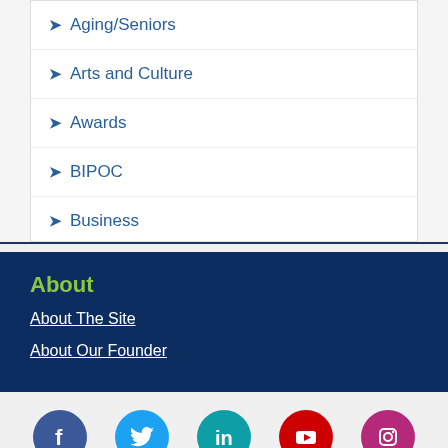Aging/Seniors
Arts and Culture
Awards
BIPOC
Business
About
About The Site
About Our Founder
[Figure (infographic): Social media icons row: Facebook (dark blue), Twitter (light blue), LinkedIn (teal), YouTube (red), Instagram (pink/magenta)]